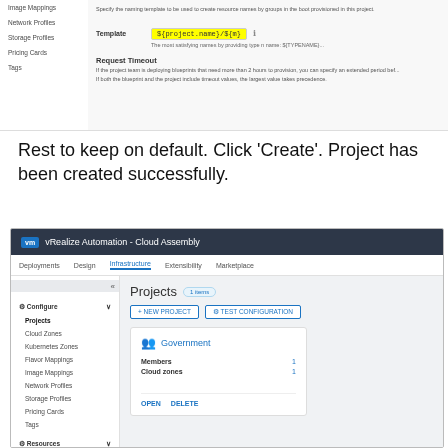[Figure (screenshot): Top partial screenshot of vRealize Automation form showing Template field with highlighted value '${project.name}/${m}' and Request Timeout section with description text.]
Rest to keep on default. Click 'Create'. Project has been created successfully.
[Figure (screenshot): Screenshot of vRealize Automation - Cloud Assembly UI showing Infrastructure > Projects page with 'Government' project card displaying Members: 1 and Cloud zones: 1, with NEW PROJECT and TEST CONFIGURATION buttons. Left sidebar shows Configure menu with Projects selected, Cloud Zones, Kubernetes Zones, Flavor Mappings, Image Mappings, Network Profiles, Storage Profiles, Pricing Cards, Tags, and Resources section.]